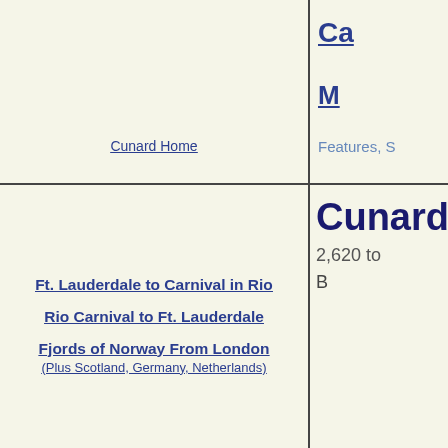Cunard Home
Ca...
Features, S...
Ft. Lauderdale to Carnival in Rio
Rio Carnival to Ft. Lauderdale
Fjords of Norway From London (Plus Scotland, Germany, Netherlands)
Cunard's N...
2,620 to...
B...
Accommodations